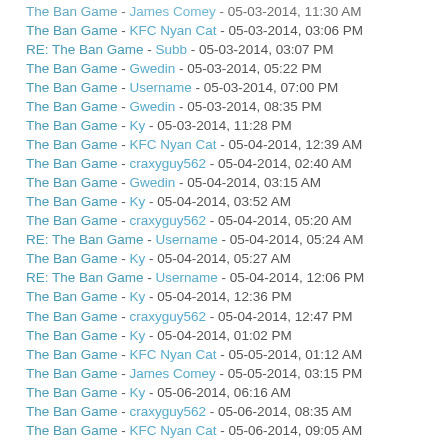The Ban Game - James Comey - 05-03-2014, 11:30 AM
The Ban Game - KFC Nyan Cat - 05-03-2014, 03:06 PM
RE: The Ban Game - Subb - 05-03-2014, 03:07 PM
The Ban Game - Gwedin - 05-03-2014, 05:22 PM
The Ban Game - Username - 05-03-2014, 07:00 PM
The Ban Game - Gwedin - 05-03-2014, 08:35 PM
The Ban Game - Ky - 05-03-2014, 11:28 PM
The Ban Game - KFC Nyan Cat - 05-04-2014, 12:39 AM
The Ban Game - craxyguy562 - 05-04-2014, 02:40 AM
The Ban Game - Gwedin - 05-04-2014, 03:15 AM
The Ban Game - Ky - 05-04-2014, 03:52 AM
The Ban Game - craxyguy562 - 05-04-2014, 05:20 AM
RE: The Ban Game - Username - 05-04-2014, 05:24 AM
The Ban Game - Ky - 05-04-2014, 05:27 AM
RE: The Ban Game - Username - 05-04-2014, 12:06 PM
The Ban Game - Ky - 05-04-2014, 12:36 PM
The Ban Game - craxyguy562 - 05-04-2014, 12:47 PM
The Ban Game - Ky - 05-04-2014, 01:02 PM
The Ban Game - KFC Nyan Cat - 05-05-2014, 01:12 AM
The Ban Game - James Comey - 05-05-2014, 03:15 PM
The Ban Game - Ky - 05-06-2014, 06:16 AM
The Ban Game - craxyguy562 - 05-06-2014, 08:35 AM
The Ban Game - KFC Nyan Cat - 05-06-2014, 09:05 AM